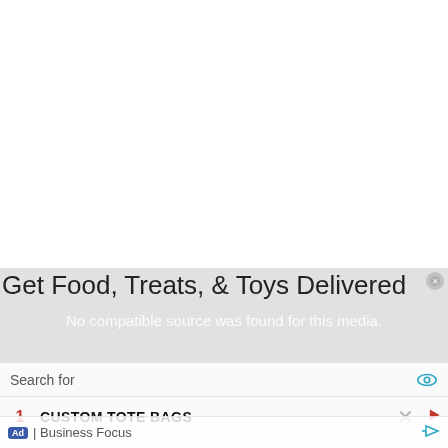Get Food, Treats, & Toys Delivered
No compatible source was found for this media.
Search for
1  CUSTOM TOTE BAGS
2  HOMES FOR SALE BY OWNER
Ad | Business Focus